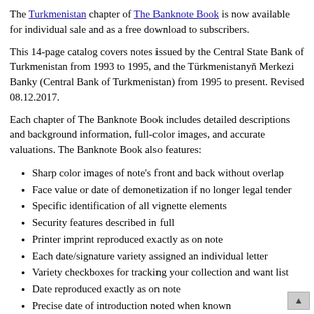The Turkmenistan chapter of The Banknote Book is now available for individual sale and as a free download to subscribers.
This 14-page catalog covers notes issued by the Central State Bank of Turkmenistan from 1993 to 1995, and the Türkmenistanyň Merkezi Banky (Central Bank of Turkmenistan) from 1995 to present. Revised 08.12.2017.
Each chapter of The Banknote Book includes detailed descriptions and background information, full-color images, and accurate valuations. The Banknote Book also features:
Sharp color images of note's front and back without overlap
Face value or date of demonetization if no longer legal tender
Specific identification of all vignette elements
Security features described in full
Printer imprint reproduced exactly as on note
Each date/signature variety assigned an individual letter
Variety checkboxes for tracking your collection and want list
Date reproduced exactly as on note
Precise date of introduction noted when known
Replacement note information
Signature tables, often with names and terms of service
Background information for historical and cultural con